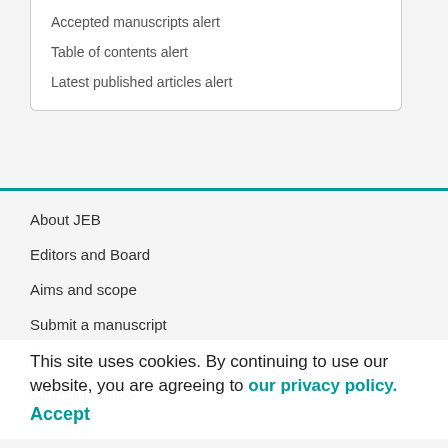Accepted manuscripts alert
Table of contents alert
Latest published articles alert
About JEB
Editors and Board
Aims and scope
Submit a manuscript
Manuscript preparation
Journal policies
Rights and permissions
This site uses cookies. By continuing to use our website, you are agreeing to our privacy policy. Accept